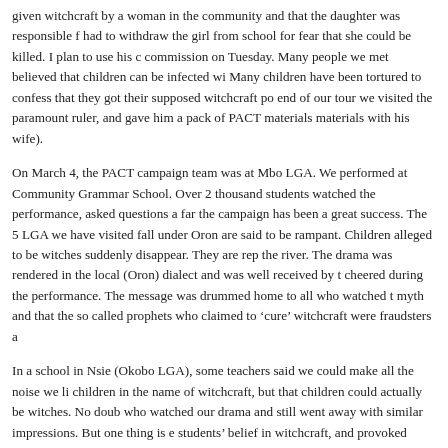given witchcraft by a woman in the community and that the daughter was responsible f had to withdraw the girl from school for fear that she could be killed. I plan to use his c commission on Tuesday. Many people we met believed that children can be infected wi Many children have been tortured to confess that they got their supposed witchcraft po end of our tour we visited the paramount ruler, and gave him a pack of PACT materials materials with his wife).
On March 4, the PACT campaign team was at Mbo LGA. We performed at Community Grammar School. Over 2 thousand students watched the performance, asked questions a far the campaign has been a great success. The 5 LGA we have visited fall under Oron are said to be rampant. Children alleged to be witches suddenly disappear. They are rep the river. The drama was rendered in the local (Oron) dialect and was well received by t cheered during the performance. The message was drummed home to all who watched t myth and that the so called prophets who claimed to ‘cure’ witchcraft were fraudsters a
In a school in Nsie (Okobo LGA), some teachers said we could make all the noise we li children in the name of witchcraft, but that children could actually be witches. No doub who watched our drama and still went away with similar impressions. But one thing is e students’ belief in witchcraft, and provoked them to re-examine it. Our performance em report to the police peddlers of the ancient myth – in a manner that has never been the c
Leo Igwe in Uyo, Akwa Ibom state.
Related Posts
Preventing Witchcraft Accusations and Child Rights Abuses in Ak